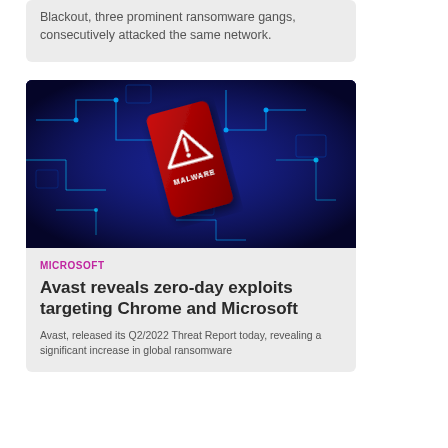Blackout, three prominent ransomware gangs, consecutively attacked the same network.
[Figure (photo): A red smartphone with a white warning triangle and 'MALWARE' text on its screen, set against a dark blue glowing digital circuit board background.]
MICROSOFT
Avast reveals zero-day exploits targeting Chrome and Microsoft
Avast, released its Q2/2022 Threat Report today, revealing a significant increase in global ransomware